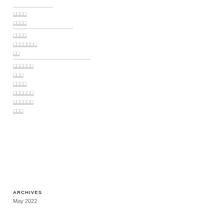□□□□
□□□□
□□□□
□□□□□□□
□□
□□□□□□
□□□
□□□□
□□□□□□
□□□□□□
□□□
ARCHIVES
May 2022